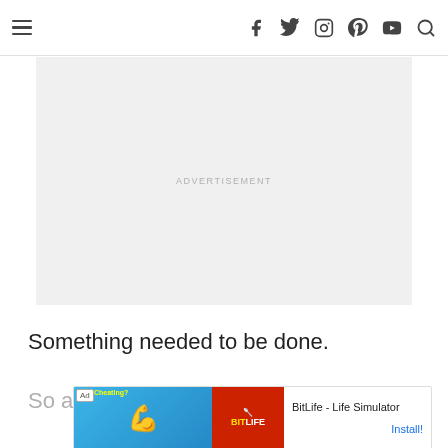Navigation header with hamburger menu and social icons: Facebook, Twitter, Instagram, Pinterest, YouTube, Search
[Figure (other): Advertisement placeholder box with light gray background and centered 'ADVERTISEMENT' text]
Something needed to be done.
So a
[Figure (other): BitLife - Life Simulator advertisement banner with Ad tag, animated arm and BitLife logos on left, app name and Install button on right]